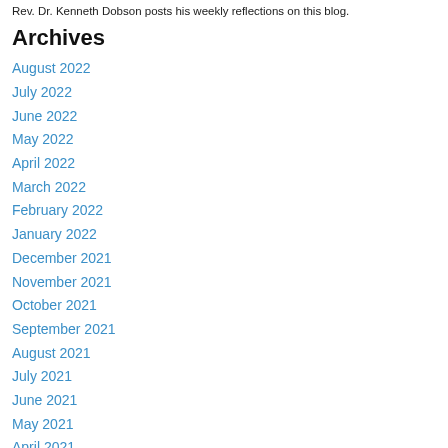Rev. Dr. Kenneth Dobson posts his weekly reflections on this blog.
Archives
August 2022
July 2022
June 2022
May 2022
April 2022
March 2022
February 2022
January 2022
December 2021
November 2021
October 2021
September 2021
August 2021
July 2021
June 2021
May 2021
April 2021
March 2021